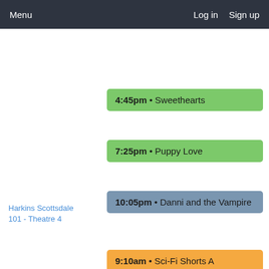Menu   Log in   Sign up
4:45pm • Sweethearts
7:25pm • Puppy Love
10:05pm • Danni and the Vampire
Harkins Scottsdale 101 - Theatre 4
9:10am • Sci-Fi Shorts A
11:45am • Paradox Lost